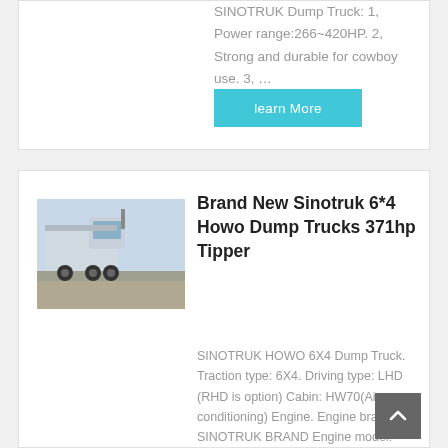SINOTRUK Dump Truck: 1, Power range:266~420HP. 2, Strong and durable for cowboy use. 3, …
learn More
[Figure (photo): Rear view of a Sinotruk HOWO dump truck / tractor unit parked in a yard]
Brand New Sinotruk 6*4 Howo Dump Trucks 371hp Tipper
SINOTRUK HOWO 6X4 Dump Truck. Traction type: 6X4. Driving type: LHD (RHD is option) Cabin: HW70(Air conditioning) Engine. Engine brand: SINOTRUK BRAND Engine model: SINOTRUK 371HP Euro II. Engine